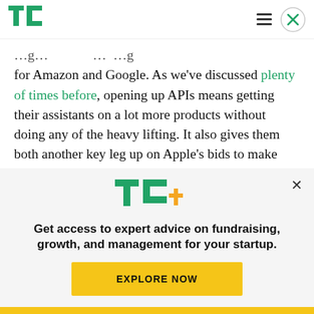TechCrunch
for Amazon and Google. As we've discussed plenty of times before, opening up APIs means getting their assistants on a lot more products without doing any of the heavy lifting. It also gives them both another key leg up on Apple's bids to make Siri part of the connected home tissue.
[Figure (logo): TechCrunch TC+ logo with green TC letters and orange plus sign]
Get access to expert advice on fundraising, growth, and management for your startup.
EXPLORE NOW